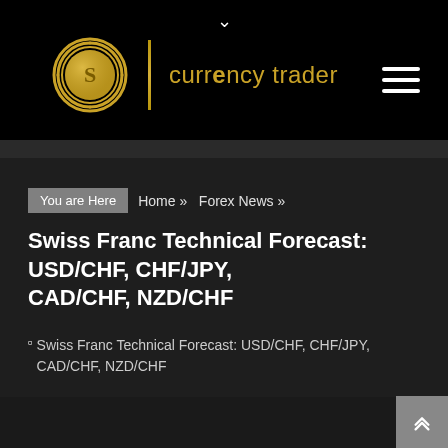currency trader — website header with logo
You are Here  Home »  Forex News »
Swiss Franc Technical Forecast: USD/CHF, CHF/JPY, CAD/CHF, NZD/CHF
[Figure (photo): Broken image placeholder for article image with alt text: Swiss Franc Technical Forecast: USD/CHF, CHF/JPY, CAD/CHF, NZD/CHF]